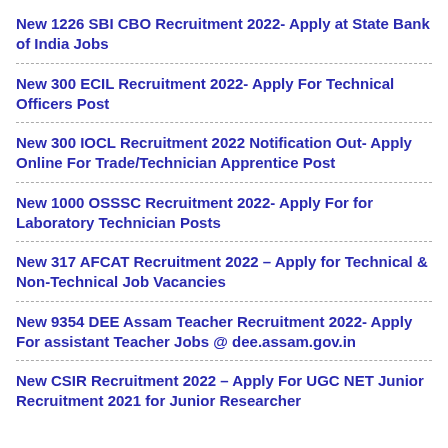New 1226 SBI CBO Recruitment 2022- Apply at State Bank of India Jobs
New 300 ECIL Recruitment 2022- Apply For Technical Officers Post
New 300 IOCL Recruitment 2022 Notification Out- Apply Online For Trade/Technician Apprentice Post
New 1000 OSSSC Recruitment 2022- Apply For for Laboratory Technician Posts
New 317 AFCAT Recruitment 2022 – Apply for Technical & Non-Technical Job Vacancies
New 9354 DEE Assam Teacher Recruitment 2022- Apply For assistant Teacher Jobs @ dee.assam.gov.in
New CSIR Recruitment 2022 – Apply For UGC NET Junior Recruitment 2021 for Junior Researcher